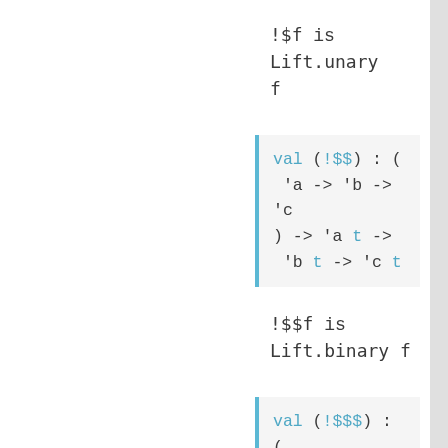!$f is Lift.unary f
val (!$$) : (
'a -> 'b -> 'c
) -> 'a t ->
'b t -> 'c t
!$$f is Lift.binary f
val (!$$$) : (
'a -> 'b -> 'c
-> 'd ) -> 'a
t -> 'b t ->
'c t -> 'd t
!$$$f is